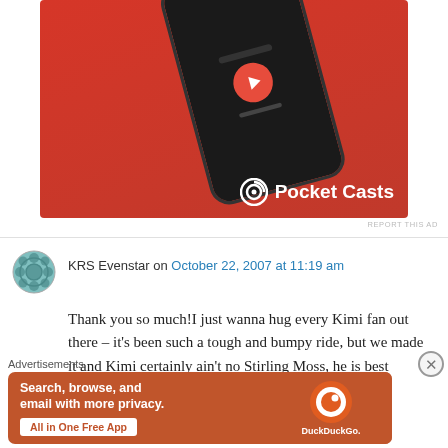[Figure (photo): Pocket Casts advertisement showing a smartphone on a red background with the Pocket Casts logo and name in white text]
REPORT THIS AD
KRS Evenstar on October 22, 2007 at 11:19 am
Thank you so much!I just wanna hug every Kimi fan out there – it's been such a tough and bumpy ride, but we made it and Kimi certainly ain't no Stirling Moss, he is best flipping driver out there
Advertisements
[Figure (screenshot): DuckDuckGo advertisement with orange background showing 'Search, browse, and email with more privacy. All in One Free App' with DuckDuckGo logo on a phone]